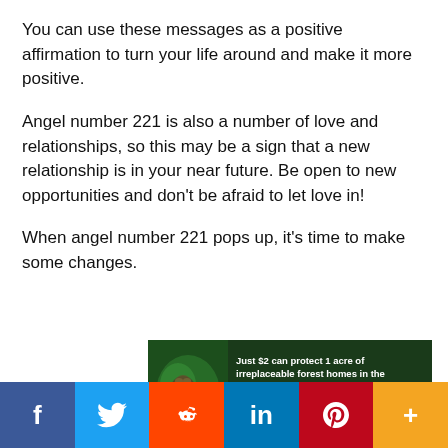You can use these messages as a positive affirmation to turn your life around and make it more positive.
Angel number 221 is also a number of love and relationships, so this may be a sign that a new relationship is in your near future. Be open to new opportunities and don't be afraid to let love in!
When angel number 221 pops up, it's time to make some changes.
[Figure (infographic): Advertisement banner: forest/Amazon conservation ad with orangutan image. Text reads: 'Just $2 can protect 1 acre of irreplaceable forest homes in the Amazon. How many acres are you willing to protect?' with green button 'PROTECT FORESTS NOW']
[Figure (infographic): Social media sharing bar with six buttons: Facebook (blue), Twitter (light blue), Reddit (orange-red), LinkedIn (dark blue), Pinterest (red), More/Plus (orange)]